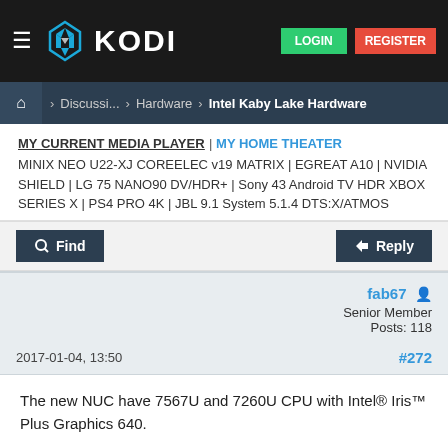KODI — LOGIN | REGISTER
Home > Discussi... > Hardware > Intel Kaby Lake Hardware
MY CURRENT MEDIA PLAYER | MY HOME THEATER
MINIX NEO U22-XJ COREELEC v19 MATRIX | EGREAT A10 | NVIDIA SHIELD | LG 75 NANO90 DV/HDR+ | Sony 43 Android TV HDR XBOX SERIES X | PS4 PRO 4K | JBL 9.1 System 5.1.4 DTS:X/ATMOS
Find   Reply
fab67
Senior Member
Posts: 118
2017-01-04, 13:50  #272
The new NUC have 7567U and 7260U CPU with Intel® Iris™ Plus Graphics 640.